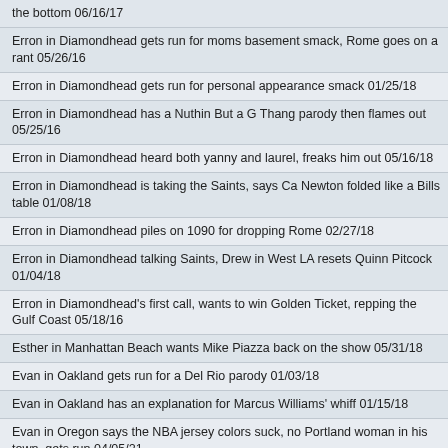the bottom 06/16/17
Erron in Diamondhead gets run for moms basement smack, Rome goes on a rant 05/26/16
Erron in Diamondhead gets run for personal appearance smack 01/25/18
Erron in Diamondhead has a Nuthin But a G Thang parody then flames out 05/25/16
Erron in Diamondhead heard both yanny and laurel, freaks him out 05/16/18
Erron in Diamondhead is taking the Saints, says Ca Newton folded like a Bills table 01/08/18
Erron in Diamondhead piles on 1090 for dropping Rome 02/27/18
Erron in Diamondhead talking Saints, Drew in West LA resets Quinn Pitcock 01/04/18
Erron in Diamondhead's first call, wants to win Golden Ticket, repping the Gulf Coast 05/18/16
Esther in Manhattan Beach wants Mike Piazza back on the show 05/31/18
Evan in Oakland gets run for a Del Rio parody 01/03/18
Evan in Oakland has an explanation for Marcus Williams' whiff 01/15/18
Evan in Oregon says the NBA jersey colors suck, no Portland woman in his town, gets run 04/05/21
Evan in Oregon with rapid fire on several clones 05/15/20
Evan in San Diego thanks Rome for giving the Padres their due 02/26/21
Evil Kenevil call in 05/17/07
Extended Beef - Matt in LA responds to Jeff in Southfield, Dan in Michigan on